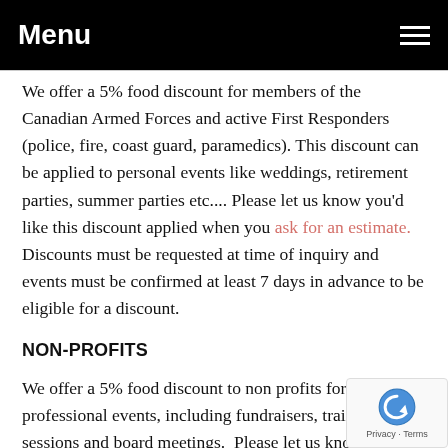Menu
We offer a 5% food discount for members of the Canadian Armed Forces and active First Responders (police, fire, coast guard, paramedics). This discount can be applied to personal events like weddings, retirement parties, summer parties etc.... Please let us know you'd like this discount applied when you ask for an estimate. Discounts must be requested at time of inquiry and events must be confirmed at least 7 days in advance to be eligible for a discount.
NON-PROFITS
We offer a 5% food discount to non profits for professional events, including fundraisers, training sessions and board meetings.  Please let us know if you qualify for this discount when you request an estimate. Minimum or apply. Non profits are defined as non-governmental